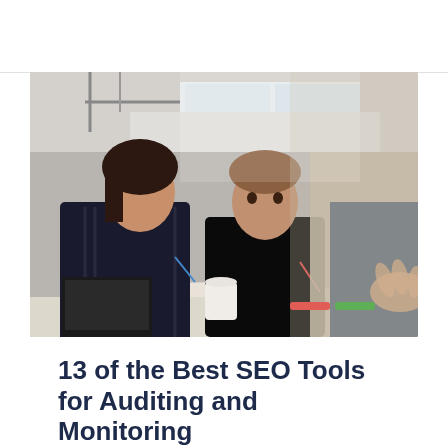[Figure (photo): Office meeting scene: two people (a woman with dark hair in a striped blazer and a man in a black hoodie) sitting at a white table listening attentively to a presenter whose hand and upper body are visible in the foreground, blurred. A laptop and coffee cup are on the table. Bright modern office interior with large windows.]
13 of the Best SEO Tools for Auditing and Monitoring